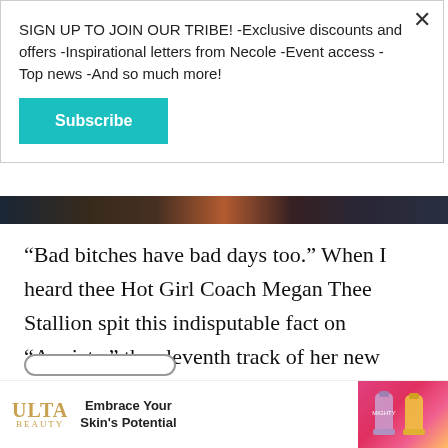SIGN UP TO JOIN OUR TRIBE! -Exclusive discounts and offers -Inspirational letters from Necole -Event access -Top news -And so much more!
Subscribe
[Figure (photo): Dark horizontal photo strip showing a crowd or event scene]
“Bad bitches have bad days too.” When I heard thee Hot Girl Coach Megan Thee Stallion spit this indisputable fact on “Anxiety,” the eleventh track of her new album Traumazine, I had to pause for a moment.
[Figure (infographic): ULTA Beauty advertisement banner: logo on left, 'Embrace Your Skin's Potential' text in center, product images on right]